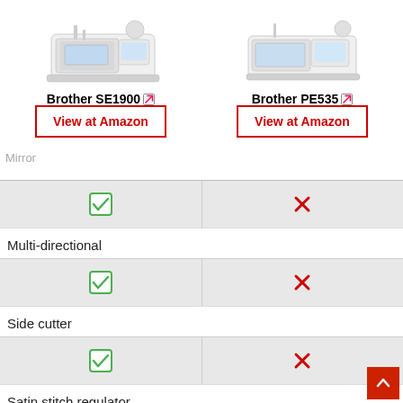[Figure (photo): Brother SE1900 sewing/embroidery machine product image]
Brother SE1900
[Figure (photo): Brother PE535 sewing/embroidery machine product image]
Brother PE535
View at Amazon
View at Amazon
| Feature | Brother SE1900 | Brother PE535 |
| --- | --- | --- |
| Multi-directional | Yes | No |
| Side cutter | Yes | No |
| Satin stitch regulator | Yes | No |